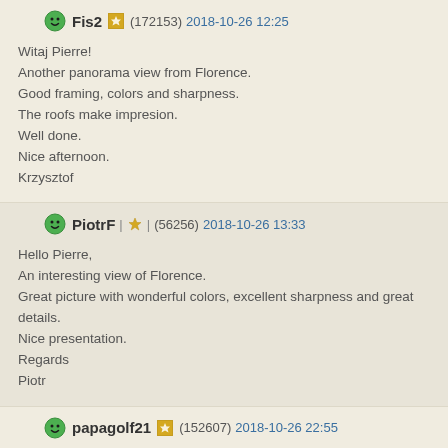Fis2 (172153) 2018-10-26 12:25
Witaj Pierre!
Another panorama view from Florence.
Good framing, colors and sharpness.
The roofs make impresion.
Well done.
Nice afternoon.
Krzysztof
PiotrF (56256) 2018-10-26 13:33
Hello Pierre,
An interesting view of Florence.
Great picture with wonderful colors, excellent sharpness and great details.
Nice presentation.
Regards
Piotr
papagolf21 (152607) 2018-10-26 22:55
Bonjour, cher Pierre,
Voila une bonne idñe de saisir photographiquement la ville sous cette forme, ce
ñtendue et de son architecture ancienne et moderne;